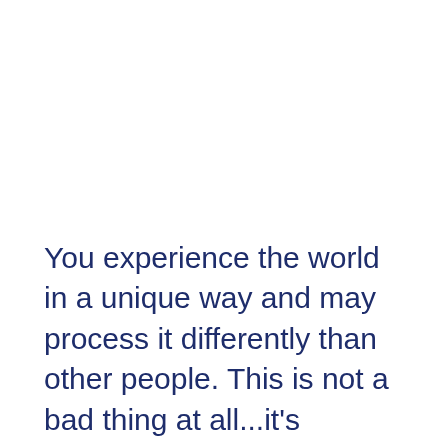You experience the world in a unique way and may process it differently than other people. This is not a bad thing at all...it's